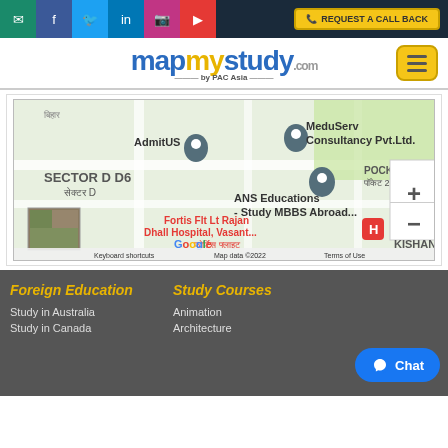Social bar with email, facebook, twitter, linkedin, instagram, youtube icons and REQUEST A CALL BACK button
[Figure (logo): mapmystudy.com by PAC Asia logo with hamburger menu button]
[Figure (map): Google Maps showing Sector D, ANS Educations Study MBBS Abroad, MeduServ Consultancy Pvt.Ltd., AdmitUS, Fortis Flt Lt Rajan Dhall Hospital Vasant, Pocket 2 area. Map data 2022.]
Foreign Education
Study in Australia
Study in Canada
Study Courses
Animation
Architecture